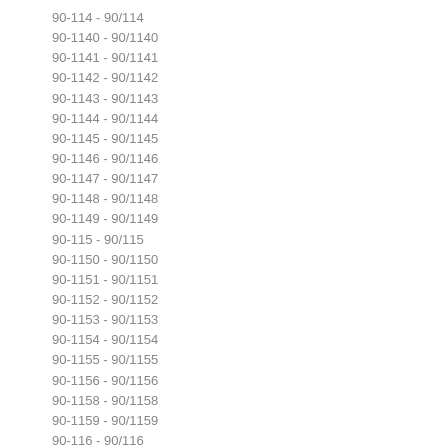90-114 - 90/114
90-1140 - 90/1140
90-1141 - 90/1141
90-1142 - 90/1142
90-1143 - 90/1143
90-1144 - 90/1144
90-1145 - 90/1145
90-1146 - 90/1146
90-1147 - 90/1147
90-1148 - 90/1148
90-1149 - 90/1149
90-115 - 90/115
90-1150 - 90/1150
90-1151 - 90/1151
90-1152 - 90/1152
90-1153 - 90/1153
90-1154 - 90/1154
90-1155 - 90/1155
90-1156 - 90/1156
90-1158 - 90/1158
90-1159 - 90/1159
90-116 - 90/116
90-1160 - 90/1160
90-1161 - 90/1161